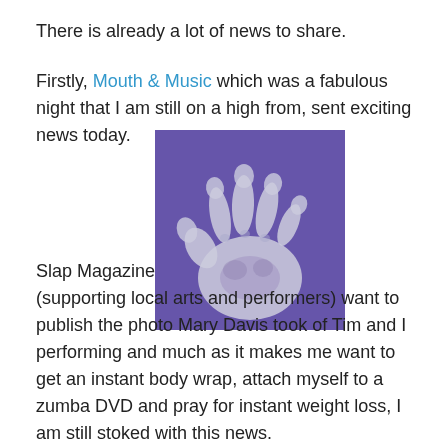There is already a lot of news to share.
Firstly, Mouth & Music which was a fabulous night that I am still on a high from, sent exciting news today.
[Figure (illustration): A hand print image on a purple/violet square background — white/silver handprint silhouette on purple background, appears to be the Slap Magazine logo.]
Slap Magazine (supporting local arts and performers) want to publish the photo Mary Davis took of Tim and I performing and much as it makes me want to get an instant body wrap, attach myself to a zumba DVD and pray for instant weight loss, I am still stoked with this news.